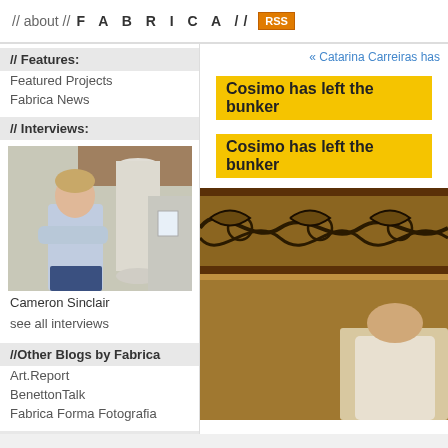// about // FABRICA // RSS
// Features:
Featured Projects
Fabrica News
// Interviews:
[Figure (photo): Photo of Cameron Sinclair standing with arms crossed in front of a column]
Cameron Sinclair
see all interviews
//Other Blogs by Fabrica
Art.Report
BenettonTalk
Fabrica Forma Fotografia
// Search
« Catarina Carreiras has
Cosimo has left the bunker
Cosimo has left the bunker
[Figure (photo): Photo showing ornamental frieze with scrollwork pattern and a person in white shirt below]